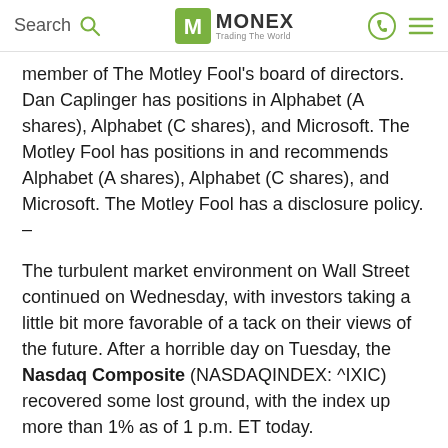Search | MONEX Trading The World
member of The Motley Fool's board of directors. Dan Caplinger has positions in Alphabet (A shares), Alphabet (C shares), and Microsoft. The Motley Fool has positions in and recommends Alphabet (A shares), Alphabet (C shares), and Microsoft. The Motley Fool has a disclosure policy. –
The turbulent market environment on Wall Street continued on Wednesday, with investors taking a little bit more favorable of a tack on their views of the future. After a horrible day on Tuesday, the Nasdaq Composite (NASDAQINDEX: ^IXIC) recovered some lost ground, with the index up more than 1% as of 1 p.m. ET today.
Earnings season is at its peak, and two behemoths on the Nasdaq tech scene gave their latest results. The numbers that Microsoft (NASDAQ: MSFT) and Alphabet (NASDAQ: